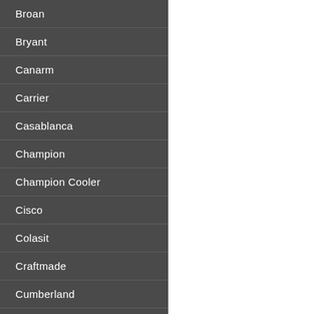Broan
Bryant
Canarm
Carrier
Casablanca
Champion
Champion Cooler
Cisco
Colasit
Craftmade
Cumberland